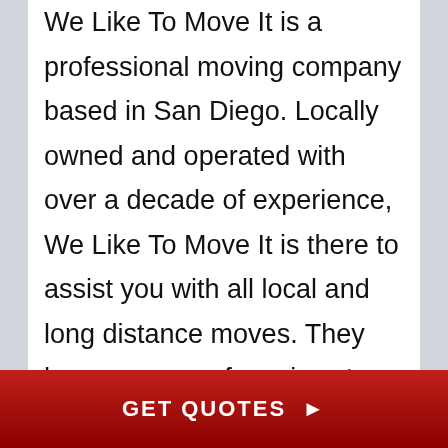We Like To Move It is a professional moving company based in San Diego. Locally owned and operated with over a decade of experience, We Like To Move It is there to assist you with all local and long distance moves. They have a range of services to make sure you have a stress free relocation. From packing and crating to furniture moving and assembling, they have professionally trained staff who are equipped to handle all kinds of moving services. They are fully licensed and insured and aim to provide
GET QUOTES ▶